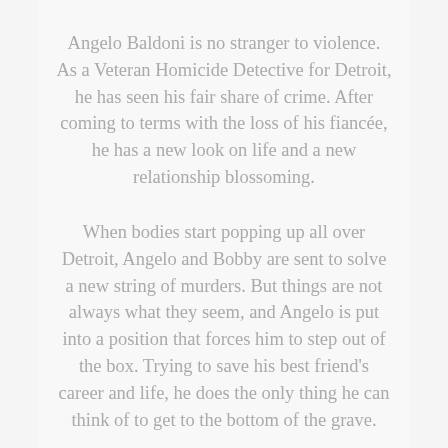Angelo Baldoni is no stranger to violence. As a Veteran Homicide Detective for Detroit, he has seen his fair share of crime. After coming to terms with the loss of his fiancée, he has a new look on life and a new relationship blossoming.
When bodies start popping up all over Detroit, Angelo and Bobby are sent to solve a new string of murders. But things are not always what they seem, and Angelo is put into a position that forces him to step out of the box. Trying to save his best friend's career and life, he does the only thing he can think of to get to the bottom of the grave.
Having to go deep undercover to catch a killer tests everything Angelo has ever believed in. Will he be able to keep his identity hidden and...